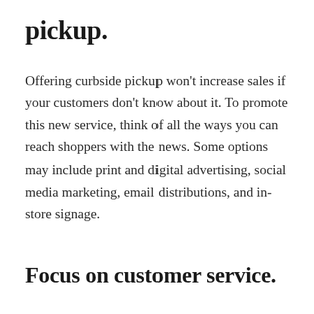pickup.
Offering curbside pickup won't increase sales if your customers don't know about it. To promote this new service, think of all the ways you can reach shoppers with the news. Some options may include print and digital advertising, social media marketing, email distributions, and in-store signage.
Focus on customer service.
Just because a curbside customer isn't walking into your store doesn't mean you can't personalize the experience. Make sure your employees make the most